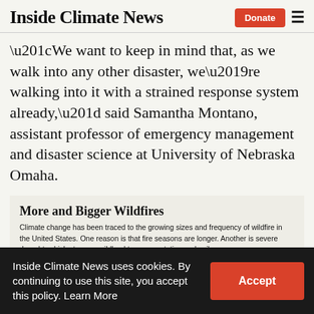Inside Climate News
“We want to keep in mind that, as we walk into any other disaster, we’re walking into it with a strained response system already,” said Samantha Montano, assistant professor of emergency management and disaster science at University of Nebraska Omaha.
More and Bigger Wildfires
Climate change has been traced to the growing sizes and frequency of wildfire in the United States. One reason is that fire seasons are longer. Another is severe drought, which stresses wildland trees, vegetation and soil.
U.S. WILDFIRES AND ACRES BURNED
1983-2019
[Figure (line-chart): Chart partially visible showing axis labels 110K and 11M]
Inside Climate News uses cookies. By continuing to use this site, you accept this policy. Learn More